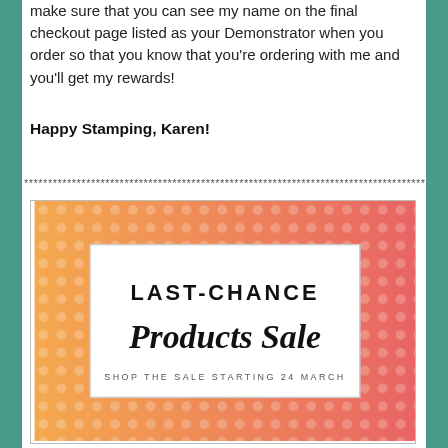make sure that you can see my name on the final checkout page listed as your Demonstrator when you order so that you know that you're ordering with me and you'll get my rewards!
Happy Stamping, Karen!
***********************************************
[Figure (illustration): Last-Chance Products Sale promotional banner with orange-to-pink gradient background with polka dots, white box in center with text LAST-CHANCE Products Sale SHOP THE SALE STARTING 24 MARCH]